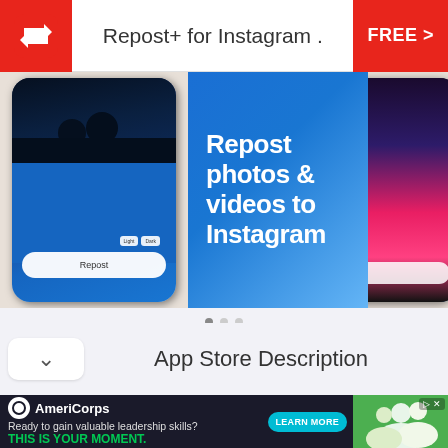Repost+ for Instagram .
[Figure (screenshot): App Store page screenshot showing two phone screenshots and a blue panel with text 'Repost photos & videos to Instagram']
App Store Description
[Figure (screenshot): AmeriCorps advertisement banner: 'Ready to gain valuable leadership skills? THIS IS YOUR MOMENT.' with LEARN MORE button]